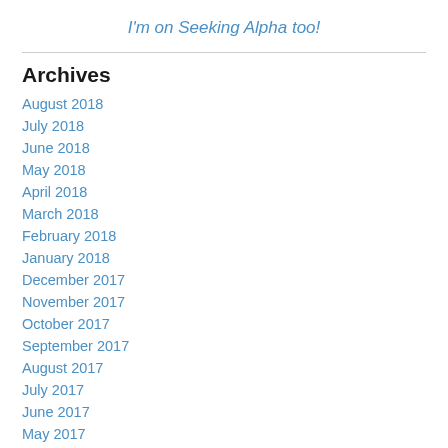I'm on Seeking Alpha too!
Archives
August 2018
July 2018
June 2018
May 2018
April 2018
March 2018
February 2018
January 2018
December 2017
November 2017
October 2017
September 2017
August 2017
July 2017
June 2017
May 2017